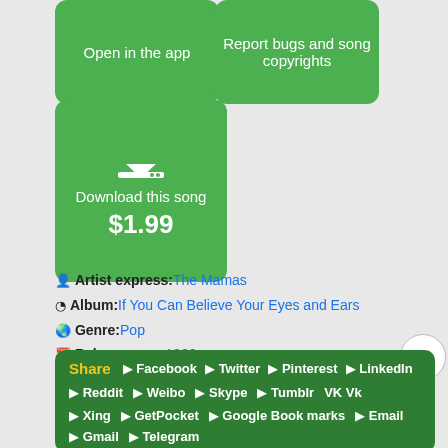[Figure (screenshot): Green button: Open in the app]
[Figure (screenshot): Green button: Report bugs and song copyrights]
[Figure (screenshot): Green button with download icon: Download this song $1.99]
Artist express: The Mamas
Album: If You Can Believe Your Eyes and Ears
Genre: Pop
Release year: 1966
Share  Facebook  Twitter  Pinterest  LinkedIn  Reddit  Weibo  Skype  Tumblr  Vk  Xing  GetPocket  Google Book marks  Email  Gmail  Telegram